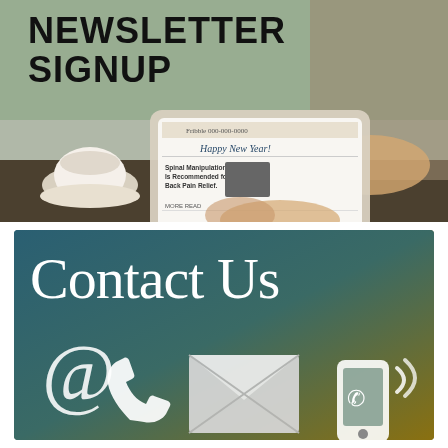[Figure (photo): Person sitting at outdoor cafe using a tablet/laptop showing a newsletter with 'Happy New Year!' headline, with a coffee cup nearby]
NEWSLETTER SIGNUP
[Figure (infographic): Contact Us banner with teal-to-gold gradient background showing '@' symbol, phone handset icon, envelope/mail icon, and mobile phone with signal waves icon]